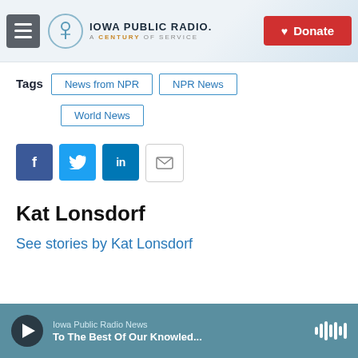Iowa Public Radio. A Century of Service | Donate
Tags  News from NPR  NPR News  World News
[Figure (other): Social sharing buttons: Facebook, Twitter, LinkedIn, Email]
Kat Lonsdorf
See stories by Kat Lonsdorf
Iowa Public Radio News — To The Best Of Our Knowled...